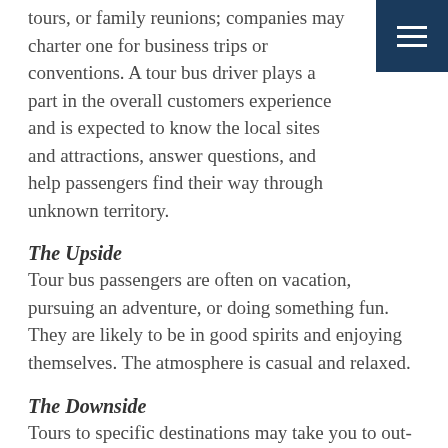tours, or family reunions; companies may charter one for business trips or conventions. A tour bus driver plays a part in the overall customers experience and is expected to know the local sites and attractions, answer questions, and help passengers find their way through unknown territory.
The Upside
Tour bus passengers are often on vacation, pursuing an adventure, or doing something fun. They are likely to be in good spirits and enjoying themselves. The atmosphere is casual and relaxed.
The Downside
Tours to specific destinations may take you to out-of-the-way places where you can't use shortcuts or by-pass construction. You may be dealing with inclement weather, poor road conditions, or bad traffic. When people drink and relax, there's often someone who gets a little too rowdy.